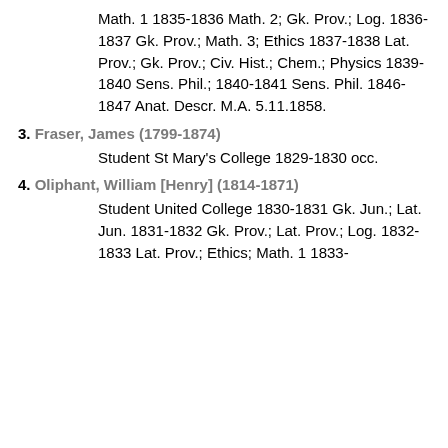Math. 1 1835-1836 Math. 2; Gk. Prov.; Log. 1836-1837 Gk. Prov.; Math. 3; Ethics 1837-1838 Lat. Prov.; Gk. Prov.; Civ. Hist.; Chem.; Physics 1839-1840 Sens. Phil.; 1840-1841 Sens. Phil. 1846-1847 Anat. Descr. M.A. 5.11.1858.
3. Fraser, James (1799-1874) Student St Mary's College 1829-1830 occ.
4. Oliphant, William [Henry] (1814-1871) Student United College 1830-1831 Gk. Jun.; Lat. Jun. 1831-1832 Gk. Prov.; Lat. Prov.; Log. 1832-1833 Lat. Prov.; Ethics; Math. 1 1833-